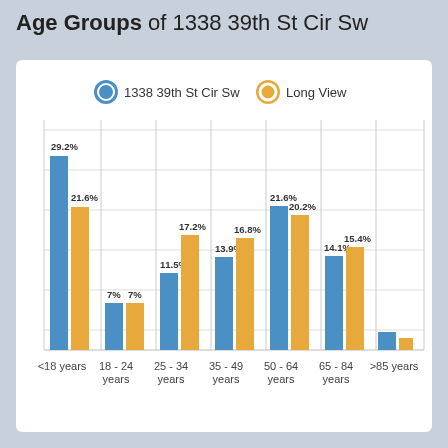Age Groups of 1338 39th St Cir Sw
[Figure (grouped-bar-chart): Age Groups of 1338 39th St Cir Sw]